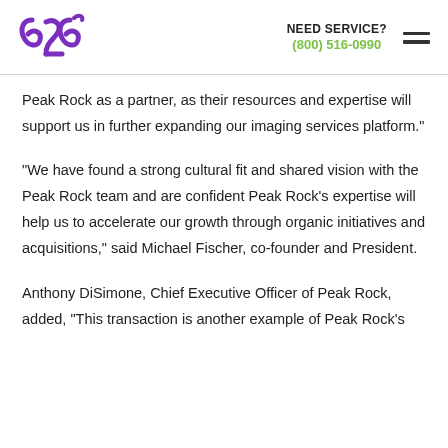626 | NEED SERVICE? (800) 516-0990
Peak Rock as a partner, as their resources and expertise will support us in further expanding our imaging services platform."
"We have found a strong cultural fit and shared vision with the Peak Rock team and are confident Peak Rock's expertise will help us to accelerate our growth through organic initiatives and acquisitions," said Michael Fischer, co-founder and President.
Anthony DiSimone, Chief Executive Officer of Peak Rock, added, "This transaction is another example of Peak Rock's